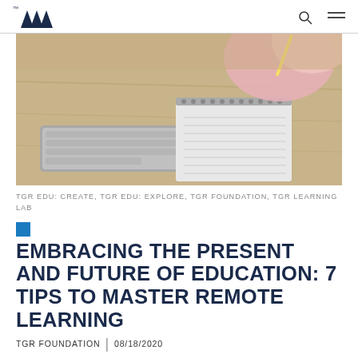TGR Foundation logo, search icon, menu icon
[Figure (photo): Person sitting at a wooden desk with a keyboard and spiral notebook, holding a pencil, wearing a pink outfit]
TGR EDU: CREATE, TGR EDU: EXPLORE, TGR FOUNDATION, TGR LEARNING LAB
EMBRACING THE PRESENT AND FUTURE OF EDUCATION: 7 TIPS TO MASTER REMOTE LEARNING
TGR FOUNDATION | 08/18/2020